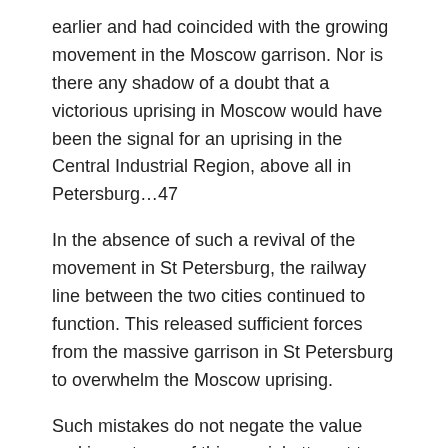earlier and had coincided with the growing movement in the Moscow garrison. Nor is there any shadow of a doubt that a victorious uprising in Moscow would have been the signal for an uprising in the Central Industrial Region, above all in Petersburg…47
In the absence of such a revival of the movement in St Petersburg, the railway line between the two cities continued to function. This released sufficient forces from the massive garrison in St Petersburg to overwhelm the Moscow uprising.
Such mistakes do not negate the value and importance of this crucial attempt to bring the revolution to its conclusion by overthrowing the tsarist regime. First of all, it very nearly succeeded. At the outset the Moscow Soviet controlled practically the entire city. The governor-